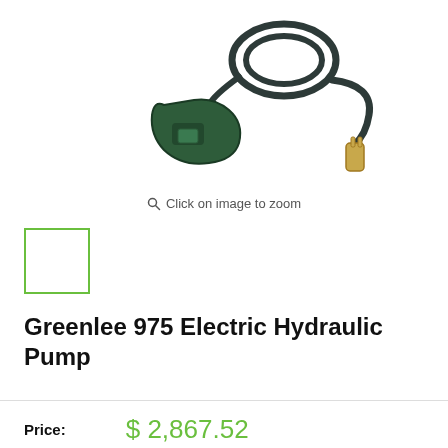[Figure (photo): Greenlee 975 Electric Hydraulic Pump product photo showing a green handheld pump unit with coiled black cord and power plug]
Click on image to zoom
[Figure (photo): Small thumbnail image of the product with green border]
Greenlee 975 Electric Hydraulic Pump
Price: $ 2,867.52